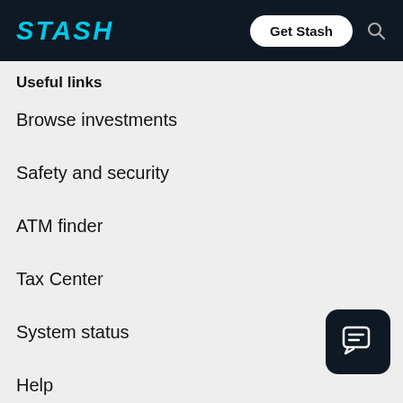STASH | Get Stash
Useful links
Browse investments
Safety and security
ATM finder
Tax Center
System status
Help
[Figure (other): Dark rounded square chat/message icon button in bottom right corner]